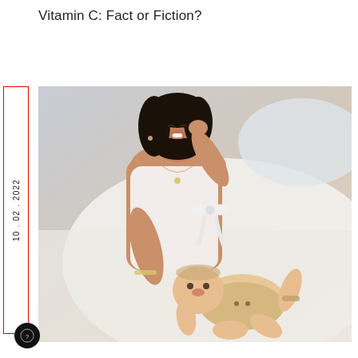Vitamin C: Fact or Fiction?
[Figure (photo): A smiling young woman with dark hair wearing a white top, leaning over a baby lying on a white bed. The woman is laughing and interacting playfully with the infant.]
10 . 02 . 2022